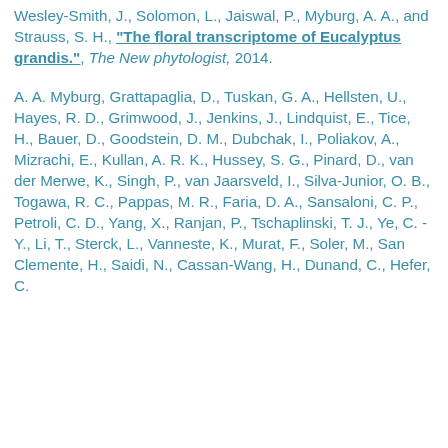Wesley-Smith, J., Solomon, L., Jaiswal, P., Myburg, A. A., and Strauss, S. H., "The floral transcriptome of Eucalyptus grandis.", The New phytologist, 2014.
A. A. Myburg, Grattapaglia, D., Tuskan, G. A., Hellsten, U., Hayes, R. D., Grimwood, J., Jenkins, J., Lindquist, E., Tice, H., Bauer, D., Goodstein, D. M., Dubchak, I., Poliakov, A., Mizrachi, E., Kullan, A. R. K., Hussey, S. G., Pinard, D., van der Merwe, K., Singh, P., van Jaarsveld, I., Silva-Junior, O. B., Togawa, R. C., Pappas, M. R., Faria, D. A., Sansaloni, C. P., Petroli, C. D., Yang, X., Ranjan, P., Tschaplinski, T. J., Ye, C. - Y., Li, T., Sterck, L., Vanneste, K., Murat, F., Soler, M., San Clemente, H., Saidi, N., Cassan-Wang, H., Dunand, C., Hefer, C.